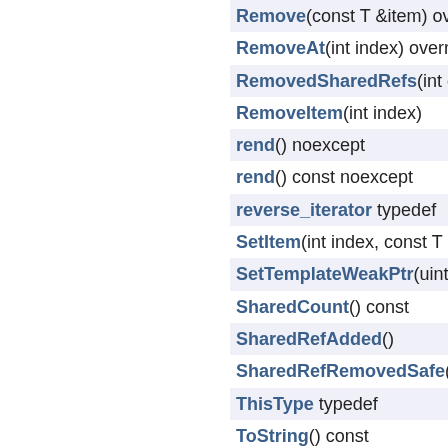Remove(const T &item) override
RemoveAt(int index) override
RemovedSharedRefs(int cou...
RemoveItem(int index)
rend() noexcept
rend() const noexcept
reverse_iterator typedef
SetItem(int index, const T &ite...
SetTemplateWeakPtr(uint32_...
SharedCount() const
SharedRefAdded()
SharedRefRemovedSafe()
ThisType typedef
ToString() const
Type()
Unlock()
ValueType typedef
virtualizeBeginConstIterator...
virtualizeBeginIterator() ove...